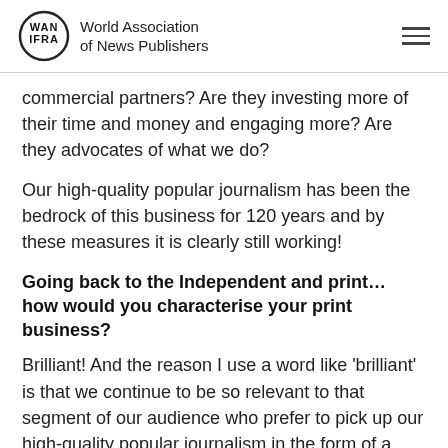World Association of News Publishers
commercial partners? Are they investing more of their time and money and engaging more? Are they advocates of what we do?
Our high-quality popular journalism has been the bedrock of this business for 120 years and by these measures it is clearly still working!
Going back to the Independent and print… how would you characterise your print business?
Brilliant! And the reason I use a word like 'brilliant' is that we continue to be so relevant to that segment of our audience who prefer to pick up our high-quality popular journalism in the form of a newspaper. They are prepared to pay for it – the cover price of the Daily Mail has just gone up to